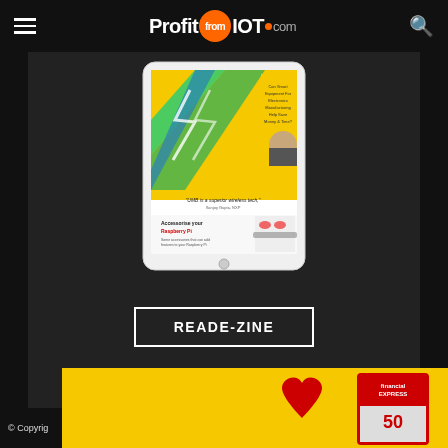ProfitfromIOT.com
[Figure (screenshot): Tablet device displaying a magazine/e-zine page with yellow background, lightning bolt graphics, and product imagery]
READ E-ZINE
© Copyrig...
[Figure (photo): Advertisement banner with yellow background, red heart, and Financial Express magazine]